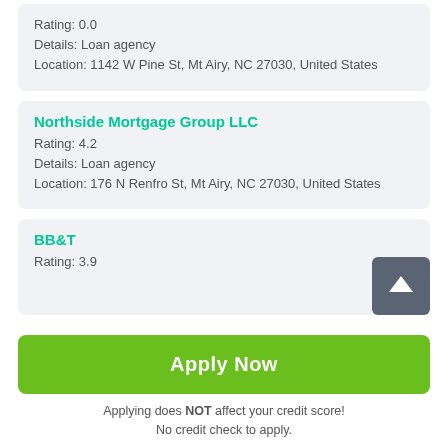Rating: 0.0
Details: Loan agency
Location: 1142 W Pine St, Mt Airy, NC 27030, United States
Northside Mortgage Group LLC
Rating: 4.2
Details: Loan agency
Location: 176 N Renfro St, Mt Airy, NC 27030, United States
BB&T
Rating: 3.9
Apply Now
Applying does NOT affect your credit score!
No credit check to apply.